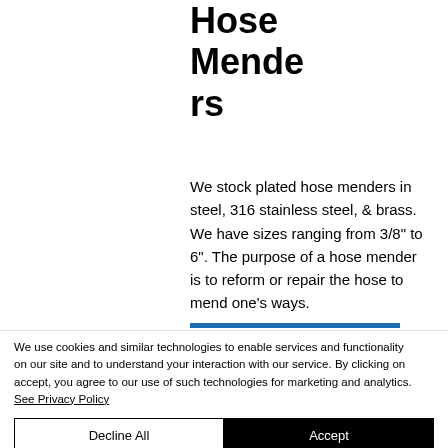Hose Menders
We stock plated hose menders in steel, 316 stainless steel, & brass. We have sizes ranging from 3/8" to 6". The purpose of a hose mender is to reform or repair the hose to mend one's ways.
We use cookies and similar technologies to enable services and functionality on our site and to understand your interaction with our service. By clicking on accept, you agree to our use of such technologies for marketing and analytics. See Privacy Policy
Decline All
Accept
Cookie Settings